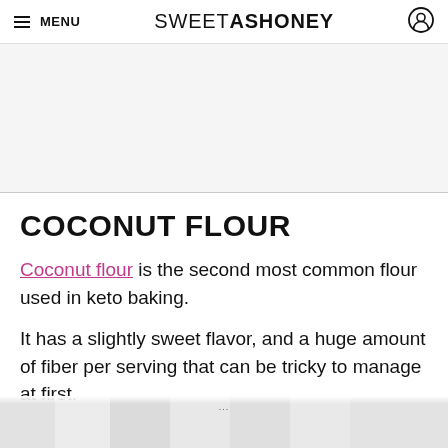MENU | SWEETASHONEY
COCONUT FLOUR
Coconut flour is the second most common flour used in keto baking.
It has a slightly sweet flavor, and a huge amount of fiber per serving that can be tricky to manage at first.
[Figure (photo): Blurred/greyed bottom image strip, partially visible at bottom of page]